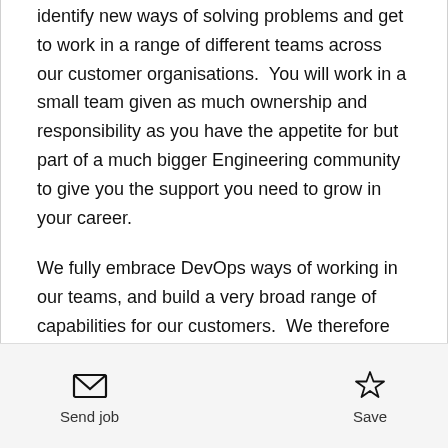identify new ways of solving problems and get to work in a range of different teams across our customer organisations.  You will work in a small team given as much ownership and responsibility as you have the appetite for but part of a much bigger Engineering community to give you the support you need to grow in your career.
We fully embrace DevOps ways of working in our teams, and build a very broad range of capabilities for our customers.  We therefore value Engineers who enjoy playing a role in the full delivery lifecycle and are flexible to learn and pick up new
Send job  Save